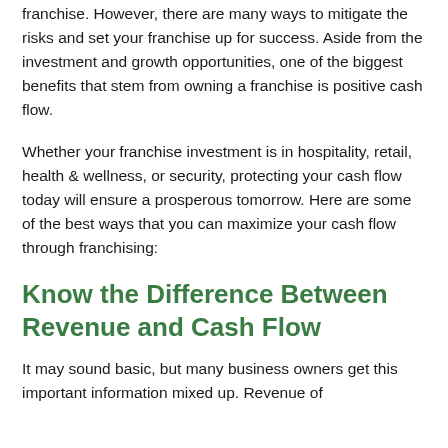franchise. However, there are many ways to mitigate the risks and set your franchise up for success. Aside from the investment and growth opportunities, one of the biggest benefits that stem from owning a franchise is positive cash flow.
Whether your franchise investment is in hospitality, retail, health & wellness, or security, protecting your cash flow today will ensure a prosperous tomorrow. Here are some of the best ways that you can maximize your cash flow through franchising:
Know the Difference Between Revenue and Cash Flow
It may sound basic, but many business owners get this important information mixed up. Revenue of